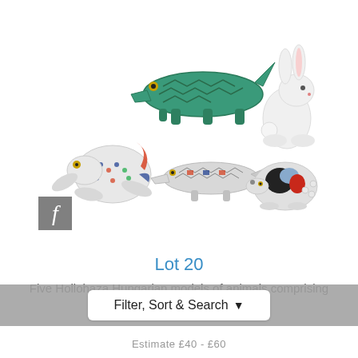[Figure (photo): Five Hollohaza Hungarian porcelain animal figurines: a decorated frog, a green crocodile, a white rabbit, a small decorated crocodile/lizard, and a decorated turtle/bird figure, arranged on a white background with a grey 'f' logo box in the lower left corner.]
Lot 20
Five Hollohaza Hungarian models of animals comprising
Filter, Sort & Search
Estimate £40 - £60